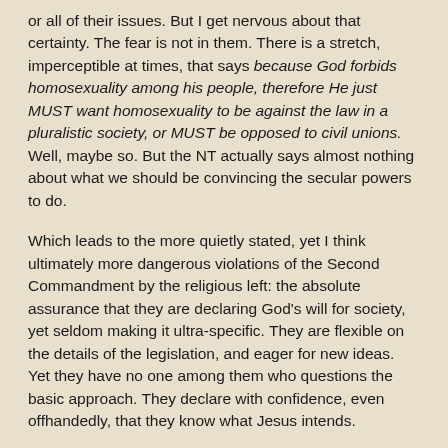or all of their issues. But I get nervous about that certainty. The fear is not in them. There is a stretch, imperceptible at times, that says because God forbids homosexuality among his people, therefore He just MUST want homosexuality to be against the law in a pluralistic society, or MUST be opposed to civil unions. Well, maybe so. But the NT actually says almost nothing about what we should be convincing the secular powers to do.
Which leads to the more quietly stated, yet I think ultimately more dangerous violations of the Second Commandment by the religious left: the absolute assurance that they are declaring God's will for society, yet seldom making it ultra-specific. They are flexible on the details of the legislation, and eager for new ideas. Yet they have no one among them who questions the basic approach. They declare with confidence, even offhandedly, that they know what Jesus intends.
Let me step back from that a bit. I have framed this in terms of the political issues, because as a recovering socialist, I am still drawn to the political questions which make the